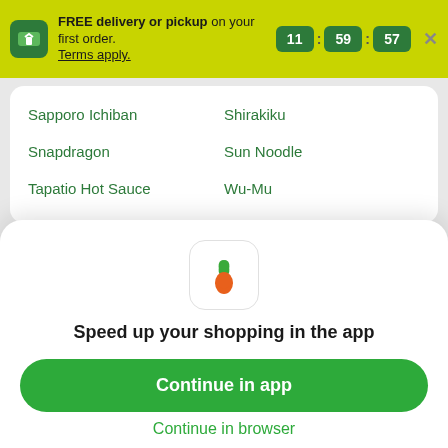FREE delivery or pickup on your first order. Terms apply. 11 : 59 : 57
Sapporo Ichiban
Shirakiku
Snapdragon
Sun Noodle
Tapatio Hot Sauce
Wu-Mu
Why Instacart?
[Figure (logo): Instacart carrot logo icon]
Speed up your shopping in the app
Continue in app
Continue in browser